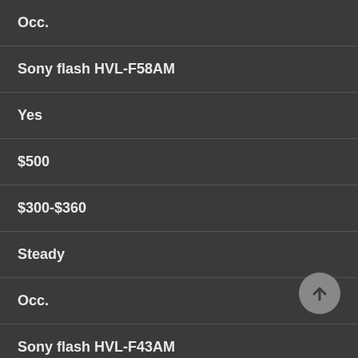| Occ. |
| Sony flash HVL-F58AM |
| Yes |
| $500 |
| $300-$360 |
| Steady |
| Occ. |
| Sony flash HVL-F43AM |